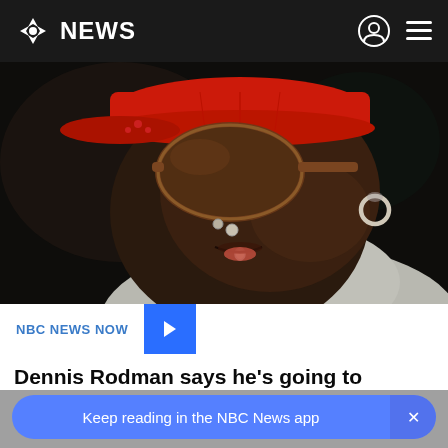NBC NEWS
[Figure (photo): Close-up photo of Dennis Rodman wearing red baseball cap, large brown tinted sunglasses, nose rings and hoop earrings, with mouth slightly open, wearing a gray hoodie, against a dark blurred background]
NBC NEWS NOW
Dennis Rodman says he's going to Russia to seek release of Brittney Griner
Keep reading in the NBC News app